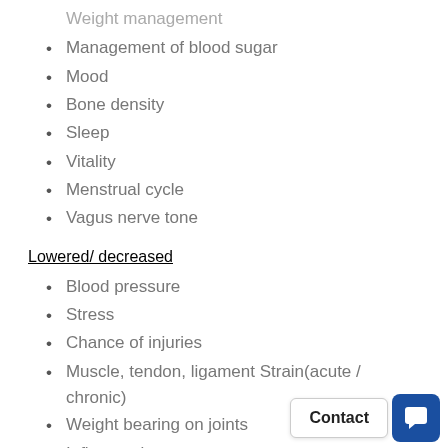Management of blood sugar
Mood
Bone density
Sleep
Vitality
Menstrual cycle
Vagus nerve tone
Lowered/ decreased
Blood pressure
Stress
Chance of injuries
Muscle, tendon, ligament Strain(acute / chronic)
Weight bearing on joints
Inflammation
Heart diseases
Risk of falling